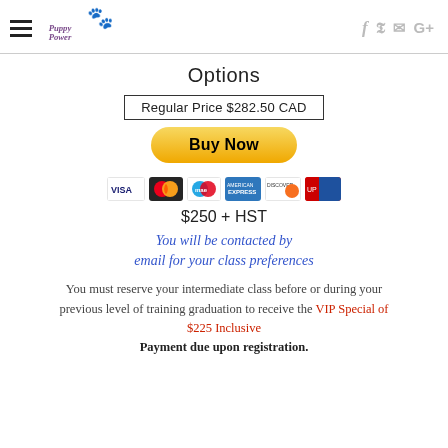Puppy Power logo with hamburger menu and social icons (f, Twitter, mail, G+)
Options
Regular Price $282.50 CAD
[Figure (other): Buy Now PayPal button]
[Figure (other): Credit card logos: Visa, Mastercard, Maestro, Amex, Discover, UnionPay]
$250 + HST
You will be contacted by email for your class preferences
You must reserve your intermediate class before or during your previous level of training graduation to receive the VIP Special of $225 Inclusive Payment due upon registration.